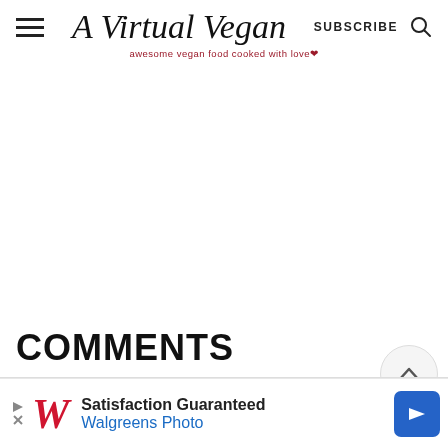A Virtual Vegan — awesome vegan food cooked with love
292
COMMENTS
[Figure (screenshot): Walgreens Photo advertisement banner: Satisfaction Guaranteed, Walgreens Photo]